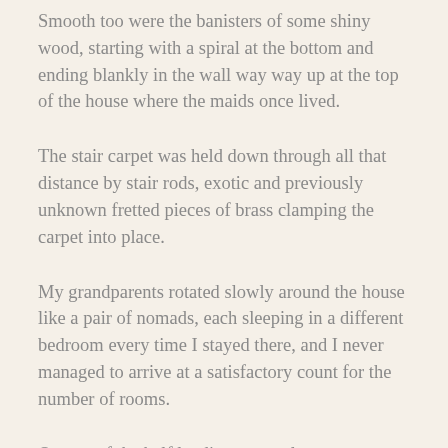Smooth too were the banisters of some shiny wood, starting with a spiral at the bottom and ending blankly in the wall way way up at the top of the house where the maids once lived.
The stair carpet was held down through all that distance by stair rods, exotic and previously unknown fretted pieces of brass clamping the carpet into place.
My grandparents rotated slowly around the house like a pair of nomads, each sleeping in a different bedroom every time I stayed there, and I never managed to arrive at a satisfactory count for the number of rooms.
On one of the half landings was a low